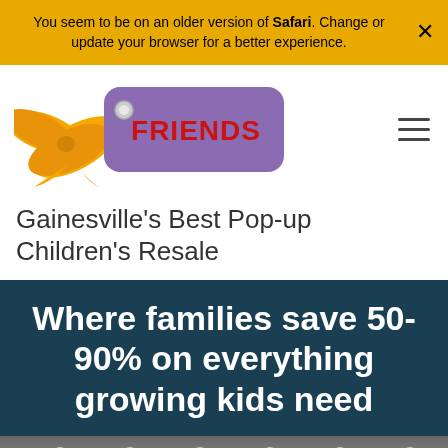You seem to be on an older version of Safari. Change or update your browser for a better experience.
[Figure (logo): Just Between Friends logo with purple tag, FRIENDS text in red, yellow/orange ribbon bow on left]
Gainesville's Best Pop-up Children's Resale
Where families save 50-90% on everything growing kids need
[Figure (photo): Interior of children's resale event venue with lighting visible, bottom strip of image]